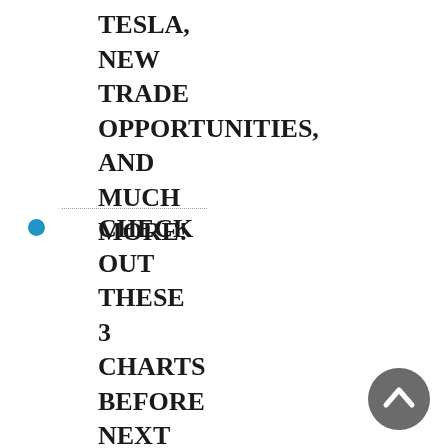TESLA, NEW TRADE OPPORTUNITIES, AND MUCH MORE!
CHECK OUT THESE 3 CHARTS BEFORE NEXT WEEK
[Figure (other): Gray circular scroll-to-top button with upward chevron arrow icon]